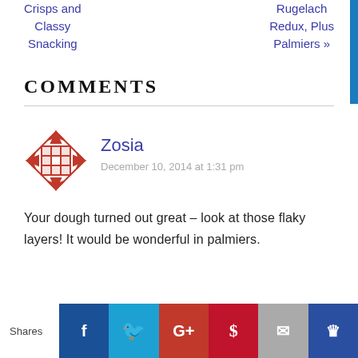Crisps and Classy Snacking
Rugelach Redux, Plus Palmiers »
COMMENTS
Zosia
December 10, 2014 at 1:31 pm
Your dough turned out great – look at those flaky layers! It would be wonderful in palmiers.
[Figure (other): Social share bar with Facebook, Twitter, Google+, Pinterest, Email, and Crown buttons]